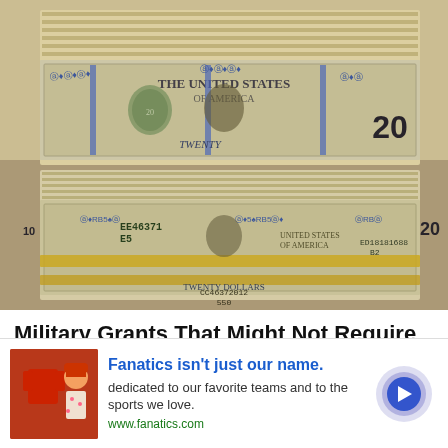[Figure (photo): Stacks of bundled $20 US dollar bills piled up, viewed close-up showing multiple bundles secured with rubber bands.]
Military Grants That Might Not Require Any Repayment (Search Here)
Military Grants | Search Results | Sponsored
[Figure (photo): Advertisement banner: Fanatics sports apparel ad showing red jersey and person in hat. Blue circle arrow button on right.]
Fanatics isn't just our name.
dedicated to our favorite teams and to the sports we love.
www.fanatics.com